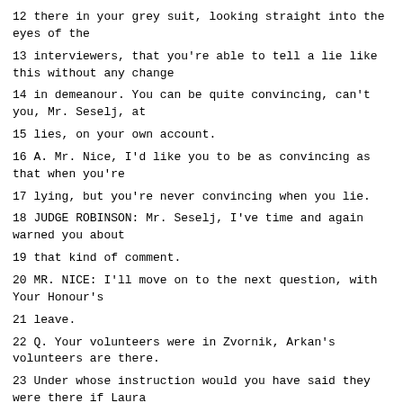12 there in your grey suit, looking straight into the eyes of the
13 interviewers, that you're able to tell a lie like this without any change
14 in demeanour. You can be quite convincing, can't you, Mr. Seselj, at
15 lies, on your own account.
16 A. Mr. Nice, I'd like you to be as convincing as that when you're
17 lying, but you're never convincing when you lie.
18 JUDGE ROBINSON: Mr. Seselj, I've time and again warned you about
19 that kind of comment.
20 MR. NICE: I'll move on to the next question, with Your Honour's
21 leave.
22 Q. Your volunteers were in Zvornik, Arkan's volunteers are there.
23 Under whose instruction would you have said they were there if Laura